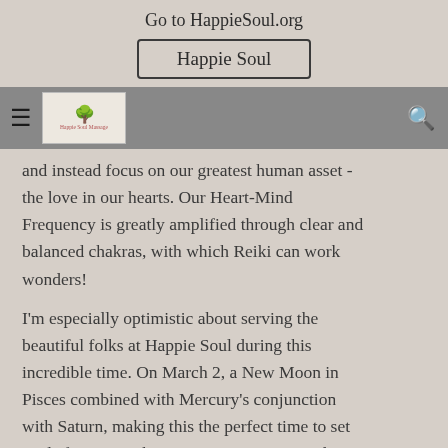Go to HappieSoul.org
Happie Soul
[Figure (logo): Happie Soul Massage logo with decorative tree graphic and cursive text]
and instead focus on our greatest human asset - the love in our hearts. Our Heart-Mind Frequency is greatly amplified through clear and balanced chakras, with which Reiki can work wonders!
I'm especially optimistic about serving the beautiful folks at Happie Soul during this incredible time. On March 2, a New Moon in Pisces combined with Mercury's conjunction with Saturn, making this the perfect time to set goals for 2022. The Sun, Moon, Jupiter and